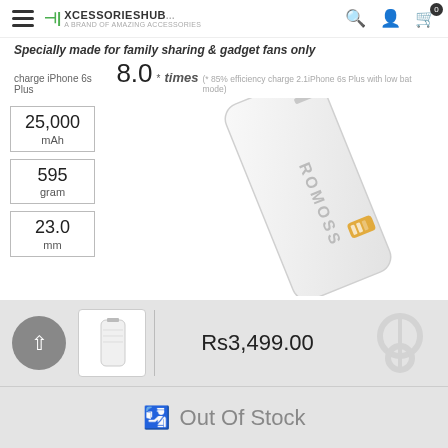XCESSORIESHUB
Specially made for family sharing & gadget fans only
charge iPhone 6s Plus 8.0* times (* 85% efficiency charge 2.1iPhone 6s Plus with low bat mode)
[Figure (photo): ROMOSS 25000mAh white power bank shown at an angle with LED indicator and USB ports]
25,000 mAh
595 gram
23.0 mm
Rs3,499.00
Out Of Stock